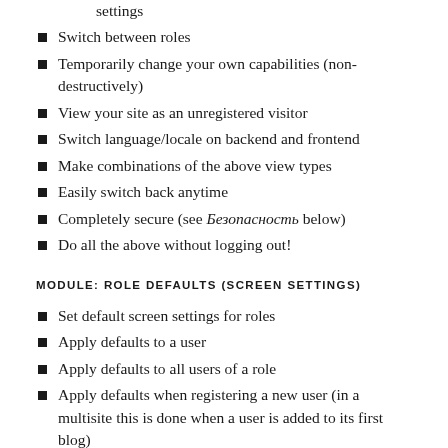settings
Switch between roles
Temporarily change your own capabilities (non-destructively)
View your site as an unregistered visitor
Switch language/locale on backend and frontend
Make combinations of the above view types
Easily switch back anytime
Completely secure (see Безопасность below)
Do all the above without logging out!
MODULE: ROLE DEFAULTS (SCREEN SETTINGS)
Set default screen settings for roles
Apply defaults to a user
Apply defaults to all users of a role
Apply defaults when registering a new user (in a multisite this is done when a user is added to its first blog)